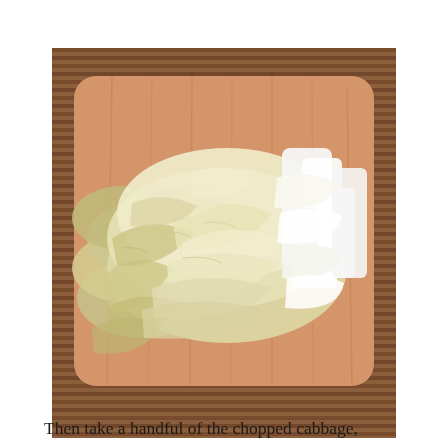[Figure (photo): Chopped napa cabbage pieces piled on a wooden cutting board, placed on a brown bamboo mat background. The cabbage shows white ribs and pale yellow-green leafy parts.]
Then take a handful of the chopped cabbage,